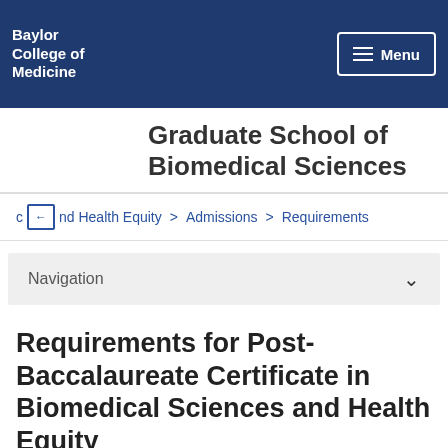Baylor College of Medicine
Graduate School of Biomedical Sciences
c … nd Health Equity > Admissions > Requirements
Navigation
Requirements for Post-Baccalaureate Certificate in Biomedical Sciences and Health Equity
Complete the online application and submit all supporting materials no later than May 15